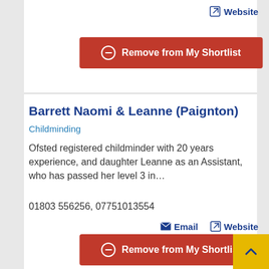Website
Remove from My Shortlist
Barrett Naomi & Leanne (Paignton)
Childminding
Ofsted registered childminder with 20 years experience, and daughter Leanne as an Assistant, who has passed her level 3 in…
01803 556256, 07751013554
Email
Website
Remove from My Shortlist
Barton Cricket & Social Club
Monday to Friday from 19:30 and Saturday and Sunday from 12:00...